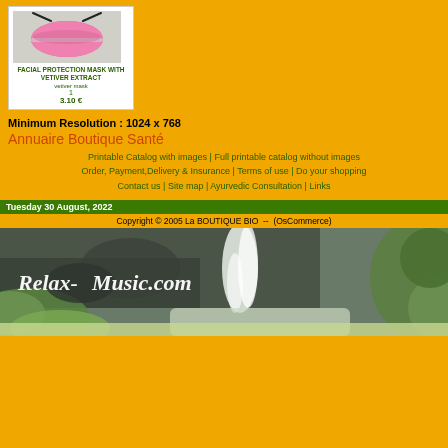[Figure (photo): Pink facial protection mask with black straps on a light background]
FACIAL PROTECTION MASK WITH VETIVER EXTRACT
vetiver mask
1
3.10 €
Minimum Resolution : 1024 x 768
Annuaire Boutique Santé
Printable Catalog with images | Full printable catalog without images
Order, Payment,Delivery & Insurance | Terms of use | Do your shopping
Contact us | Site map | Ayurvedic Consultation | Links
Tuesday 30 August, 2022
Copyright © 2005 La BOUTIQUE BIO  --  (OsCommerce)
[Figure (photo): Relax-Music.com waterfall banner with tropical greenery and white waterfall]